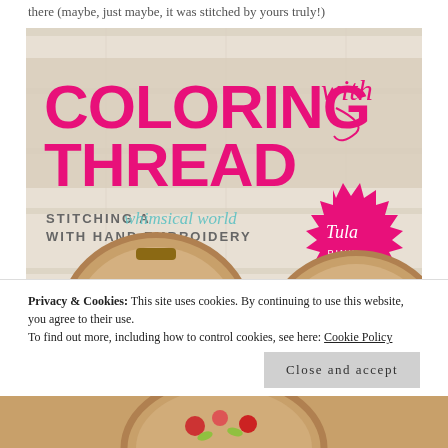there (maybe, just maybe, it was stitched by yours truly!)
[Figure (photo): Book cover for 'Coloring with Thread: Stitching a Whimsical World with Hand Embroidery' by Tula Pink. Cover shows large bold pink text 'COLORING with THREAD' and teal subtitle text, with embroidery hoops showing colorful stitched designs on a white wood plank background. A pink starburst badge features the author name 'Tula Pink' in script.]
Privacy & Cookies: This site uses cookies. By continuing to use this website, you agree to their use.
To find out more, including how to control cookies, see here: Cookie Policy
Close and accept
[Figure (photo): Bottom strip showing embroidered floral design in an embroidery hoop]